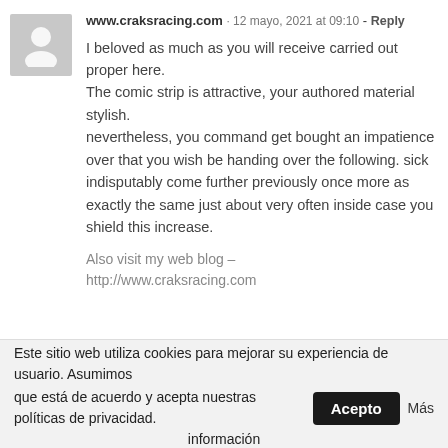www.craksracing.com · 12 mayo, 2021 at 09:10 - Reply
I beloved as much as you will receive carried out proper here. The comic strip is attractive, your authored material stylish. nevertheless, you command get bought an impatience over that you wish be handing over the following. sick indisputably come further previously once more as exactly the same just about very often inside case you shield this increase.
Also visit my web blog – http://www.craksracing.com
Este sitio web utiliza cookies para mejorar su experiencia de usuario. Asumimos que está de acuerdo y acepta nuestras políticas de privacidad. Acepto Más información